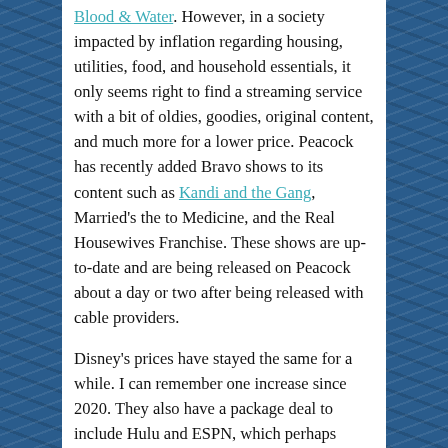Blood & Water. However, in a society impacted by inflation regarding housing, utilities, food, and household essentials, it only seems right to find a streaming service with a bit of oldies, goodies, original content, and much more for a lower price. Peacock has recently added Bravo shows to its content such as Kandi and the Gang, Married's the to Medicine, and the Real Housewives Franchise. These shows are up-to-date and are being released on Peacock about a day or two after being released with cable providers.
Disney's prices have stayed the same for a while. I can remember one increase since 2020. They also have a package deal to include Hulu and ESPN, which perhaps makes it a option for those looking for such. The only concern I would have as a subscriber/investor is the amount of content being added and was it sufficient to meet the needs of families and their watching habits. Of course this concern is regarding Disney acting as a sole subscription service.